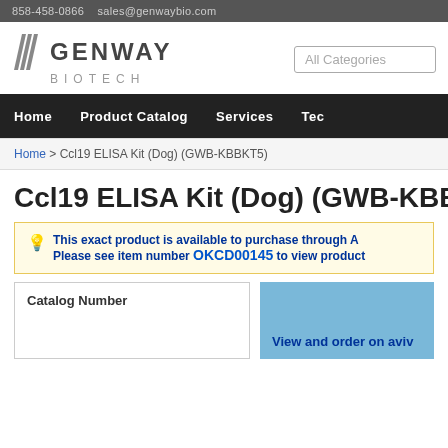858-458-0866   sales@genwaybio.com
[Figure (logo): Genway Biotech logo with stylized slash marks and company name]
All Categories
Home   Product Catalog   Services   Tech
Home > Ccl19 ELISA Kit (Dog) (GWB-KBBKT5)
Ccl19 ELISA Kit (Dog) (GWB-KBB...
This exact product is available to purchase through A... Please see item number OKCD00145 to view product...
Catalog Number
View and order on aviv...